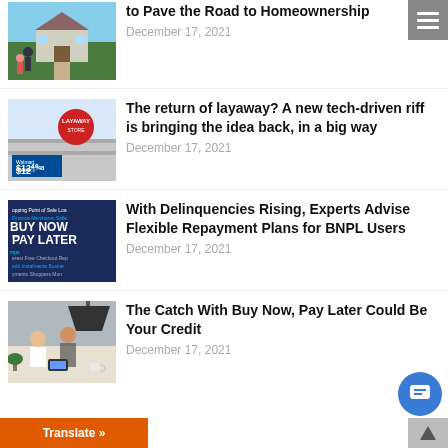[Figure (photo): Family standing in front of a house - homeownership image]
to Pave the Road to Homeownership
December 17, 2021
[Figure (photo): Layaway sign at a Walmart store with $12.48 rollback price tag]
The return of layaway? A new tech-driven riff is bringing the idea back, in a big way
December 17, 2021
[Figure (photo): Buy Now Pay Later word cloud graphic with financial terms]
With Delinquencies Rising, Experts Advise Flexible Repayment Plans for BNPL Users
December 17, 2021
[Figure (photo): Two people sitting at a table looking at a phone/tablet]
The Catch With Buy Now, Pay Later Could Be Your Credit
December 17, 2021